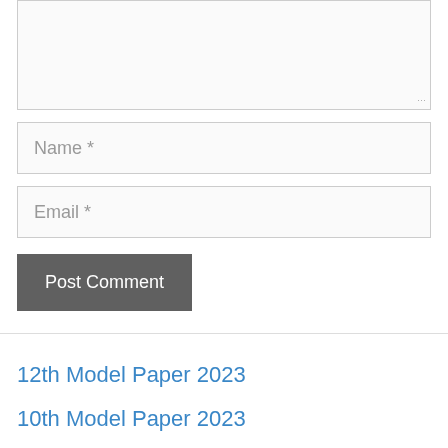[Figure (screenshot): Comment form textarea (empty, light gray background with resize handle)]
Name *
Email *
Post Comment
12th Model Paper 2023
10th Model Paper 2023